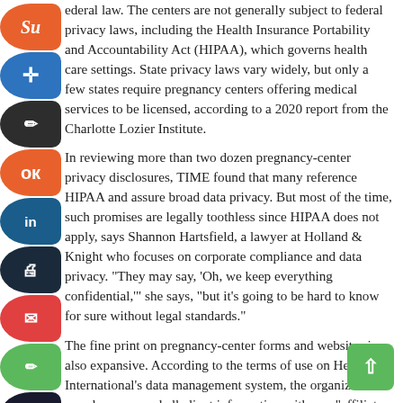ederal law. The centers are not generally subject to federal privacy laws, including the Health Insurance Portability and Accountability Act (HIPAA), which governs health care settings. State privacy laws vary widely, but only a few states require pregnancy centers offering medical services to be licensed, according to a 2020 report from the Charlotte Lozier Institute.
In reviewing more than two dozen pregnancy-center privacy disclosures, TIME found that many reference HIPAA and assure broad data privacy. But most of the time, such promises are legally toothless since HIPAA does not apply, says Shannon Hartsfield, a lawyer at Holland & Knight who focuses on corporate compliance and data privacy. "They may say, 'Oh, we keep everything confidential,'" she says, "but it's going to be hard to know for sure without legal standards."
The fine print on pregnancy-center forms and websites is also expansive. According to the terms of use on Heartbeat International's data management system, the organization can share any and all client information with any "affiliates, partners, vendors, or contract organizations, or as legally necessary."